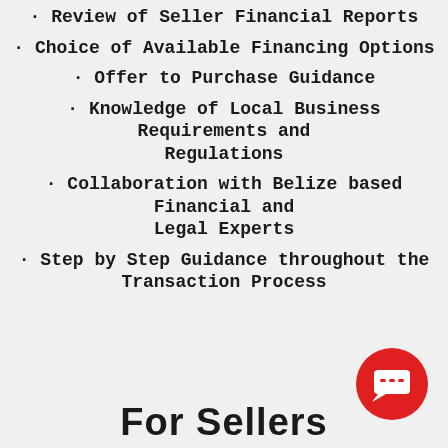· Review of Seller Financial Reports
· Choice of Available Financing Options
· Offer to Purchase Guidance
· Knowledge of Local Business Requirements and Regulations
· Collaboration with Belize based Financial and Legal Experts
· Step by Step Guidance throughout the Transaction Process
For Sellers